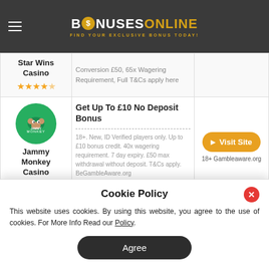BONUSES ONLINE — FIND YOUR EXCLUSIVE BONUS TODAY!
| Casino | Bonus | Action |
| --- | --- | --- |
| Star Wins Casino ★★★★½ | Conversion £50, 65x Wagering Requirement, Full T&Cs apply here | Visit Site / 18+ Gambleaware.org |
| Jammy Monkey Casino ★★★★½ | Get Up To £10 No Deposit Bonus — 18+. New, ID Verified players only. Up to £10 bonus credit. 40x wagering requirement. 7 day expiry. £50 max withdrawal without deposit. T&Cs apply. BeGambleAware.org | Visit Site / 18+ Gambleaware.org |
| Jackpot City (logo) | Get Up To $/€/£ 1600 Welcome Bonus — SIGN UP 1st / 2nd / 3rd / 4th Deposit – Match Bonus up to $/€/£ 400 • New | Visit Site / 18+ Gambleaware.org |
Cookie Policy
This website uses cookies. By using this website, you agree to the use of cookies. For More Info Read our Policy.
Agree